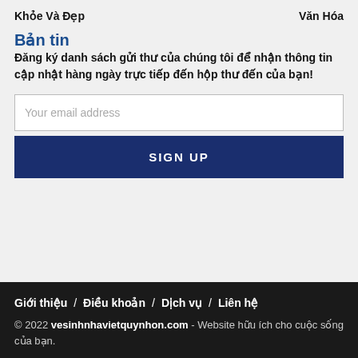Khỏe Và Đẹp    Văn Hóa
Bản tin
Đăng ký danh sách gửi thư của chúng tôi để nhận thông tin cập nhật hàng ngày trực tiếp đến hộp thư đến của bạn!
Your email address
SIGN UP
Giới thiệu / Điều khoản / Dịch vụ / Liên hệ
© 2022 vesinhnhavietquynhon.com - Website hữu ích cho cuộc sống của bạn.